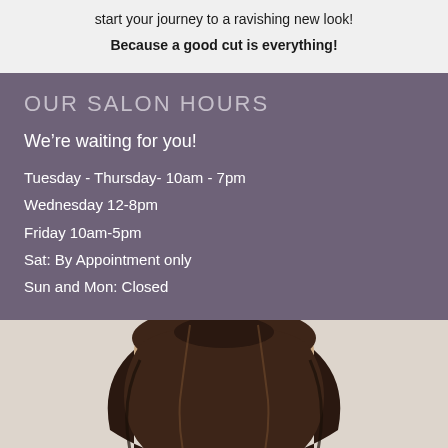start your journey to a ravishing new look!
Because a good cut is everything!
OUR SALON HOURS
We're waiting for you!
Tuesday - Thursday- 10am - 7pm
Wednesday 12-8pm
Friday 10am-5pm
Sat: By Appointment only
Sun and Mon: Closed
[Figure (photo): Back view of a woman with brown wavy hair styled in a half-updo, photographed against a light background]